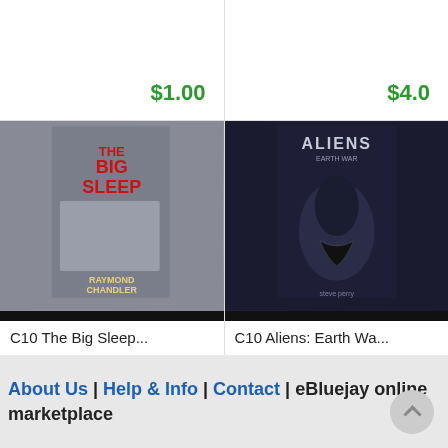$1.00
$4.0...
[Figure (photo): Book cover of 'The Big Sleep' by Raymond Chandler, a paperback with a man and woman on the cover]
C10 The Big Sleep...
$1.00
[Figure (photo): Book cover of 'Aliens: Earth War' with dark alien creature on purple/dark background]
C10 Aliens: Earth Wa...
$5.0...
About Us | Help & Info | Contact | eBluejay online marketplace